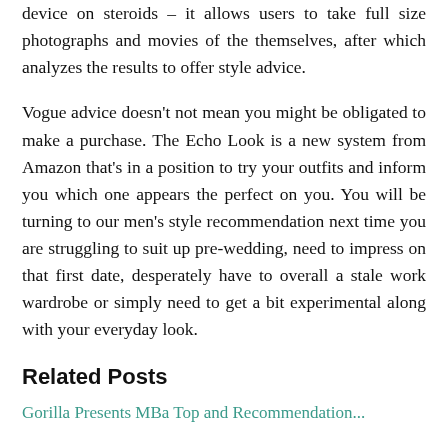device on steroids – it allows users to take full size photographs and movies of the themselves, after which analyzes the results to offer style advice.
Vogue advice doesn't not mean you might be obligated to make a purchase. The Echo Look is a new system from Amazon that's in a position to try your outfits and inform you which one appears the perfect on you. You will be turning to our men's style recommendation next time you are struggling to suit up pre-wedding, need to impress on that first date, desperately have to overall a stale work wardrobe or simply need to get a bit experimental along with your everyday look.
Related Posts
Gorilla Presents MBa Top and Recommendation...